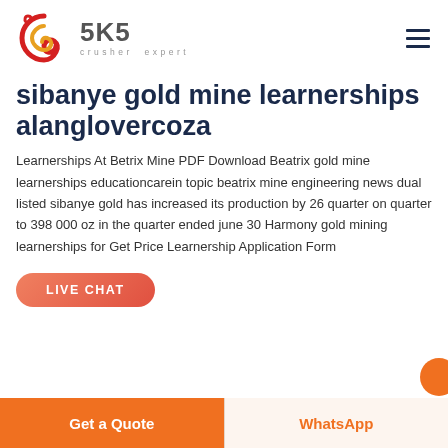SKS crusher expert
sibanye gold mine learnerships alanglovercoza
Learnerships At Betrix Mine PDF Download Beatrix gold mine learnerships educationcarein topic beatrix mine engineering news dual listed sibanye gold has increased its production by 26 quarter on quarter to 398 000 oz in the quarter ended june 30 Harmony gold mining learnerships for Get Price Learnership Application Form
LIVE CHAT
Get a Quote  WhatsApp